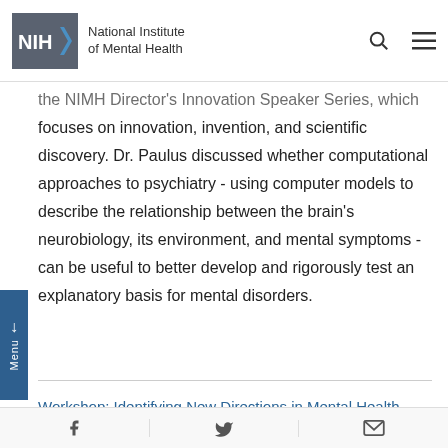NIH National Institute of Mental Health
the NIMH Director's Innovation Speaker Series, which focuses on innovation, invention, and scientific discovery. Dr. Paulus discussed whether computational approaches to psychiatry - using computer models to describe the relationship between the brain's neurobiology, its environment, and mental symptoms - can be useful to better develop and rigorously test an explanatory basis for mental disorders.
Workshop: Identifying New Directions in Mental Health Disparities Research: Innovations with a Multidimensional Lens
November 9-10, 2020